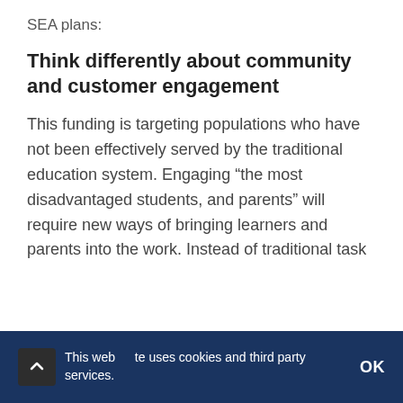SEA plans:
Think differently about community and customer engagement
This funding is targeting populations who have not been effectively served by the traditional education system. Engaging “the most disadvantaged students, and parents” will require new ways of bringing learners and parents into the work. Instead of traditional task
This website uses cookies and third party services. OK